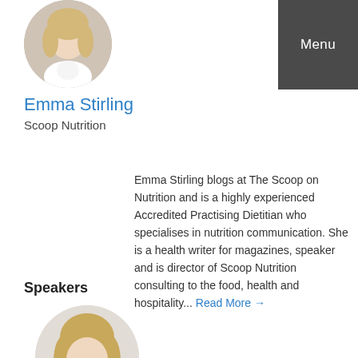[Figure (photo): Circular profile photo of Emma Stirling, a woman with blonde hair, top of page left]
Emma Stirling
Scoop Nutrition
Emma Stirling blogs at The Scoop on Nutrition and is a highly experienced Accredited Practising Dietitian who specialises in nutrition communication. She is a health writer for magazines, speaker and is director of Scoop Nutrition consulting to the food, health and hospitality... Read More →
Speakers
[Figure (photo): Circular profile photo of a woman with long blonde hair, bottom of page left]